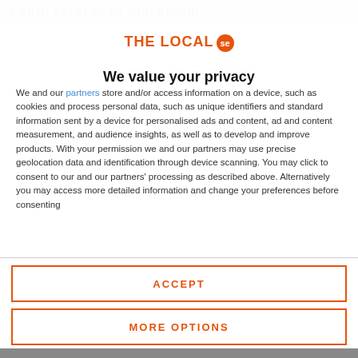Lenin returns to Stockholm
[Figure (logo): THE LOCAL se logo with orange text and orange circular badge]
We value your privacy
We and our partners store and/or access information on a device, such as cookies and process personal data, such as unique identifiers and standard information sent by a device for personalised ads and content, ad and content measurement, and audience insights, as well as to develop and improve products. With your permission we and our partners may use precise geolocation data and identification through device scanning. You may click to consent to our and our partners' processing as described above. Alternatively you may access more detailed information and change your preferences before consenting
ACCEPT
MORE OPTIONS
[Figure (photo): Partially visible photo at the bottom of the page]